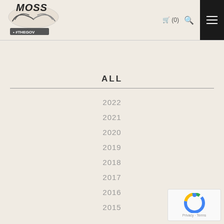MOSS #THEGOV
ALL
2022
2021
2020
2019
2018
2017
2016
2015